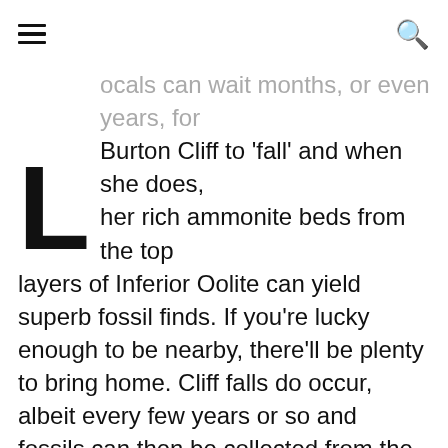≡  🔍
ocals can wait months, or even years, for Burton Cliff to 'fall' and when she does, her rich ammonite beds from the top layers of Inferior Oolite can yield superb fossil finds. If you're lucky enough to be nearby, there'll be plenty to bring home. Cliff falls do occur, albeit every few years or so and fossils can then be collected from the rocks on the foreshore. It's the Inferior Oolite that contains the rich harvest, which invariably is waiting for the locals!  As well as ammonites, some exquisitely preserved in